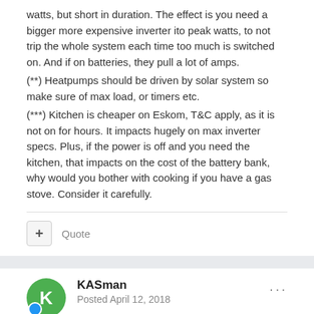watts, but short in duration. The effect is you need a bigger more expensive inverter ito peak watts, to not trip the whole system each time too much is switched on. And if on batteries, they pull a lot of amps.
(**) Heatpumps should be driven by solar system so make sure of max load, or timers etc.
(***) Kitchen is cheaper on Eskom, T&C apply, as it is not on for hours. It impacts hugely on max inverter specs. Plus, if the power is off and you need the kitchen, that impacts on the cost of the battery bank, why would you bother with cooking if you have a gas stove. Consider it carefully.
Quote
KASman
Posted April 12, 2018
Yes, a lot to think about. Thats why I came here to get some advice.